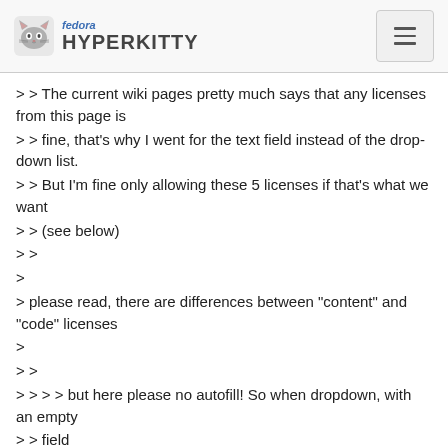fedora HYPERKITTY
> > The current wiki pages pretty much says that any licenses from this page is
> > fine, that's why I went for the text field instead of the drop-down list.
> > But I'm fine only allowing these 5 licenses if that's what we want
> > (see below)
> >
>
> please read, there are differences between "content" and "code" licenses
>
> >
> > > > but here please no autofill! So when dropdown, with an empty
> > field
> > > and
> > > that should not allowed, so that the submitter has to choose!